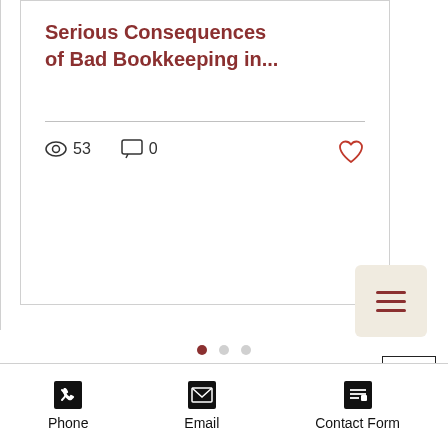Serious Consequences of Bad Bookkeeping in...
53 views  0 comments
[Figure (infographic): Pagination indicator with three dots, first dot filled red/maroon indicating active slide, other two dots grey]
[Figure (infographic): Loading spinner grey circle]
[Figure (infographic): Back to top button with upward chevron arrow in a square border]
Phone  Email  Contact Form